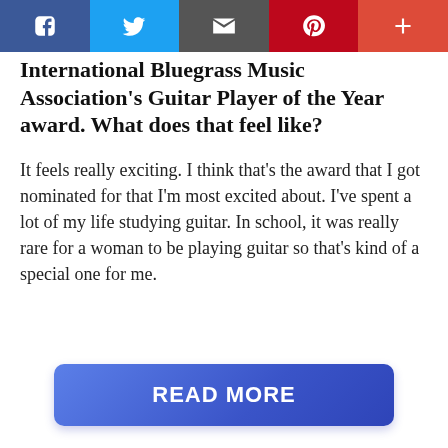[Figure (other): Social media share toolbar with Facebook, Twitter, Email, Pinterest, and Plus buttons]
International Bluegrass Music Association's Guitar Player of the Year award. What does that feel like?
It feels really exciting. I think that's the award that I got nominated for that I'm most excited about. I've spent a lot of my life studying guitar. In school, it was really rare for a woman to be playing guitar so that's kind of a special one for me.
[Figure (other): READ MORE button — a blue gradient rectangular button with bold white uppercase text]